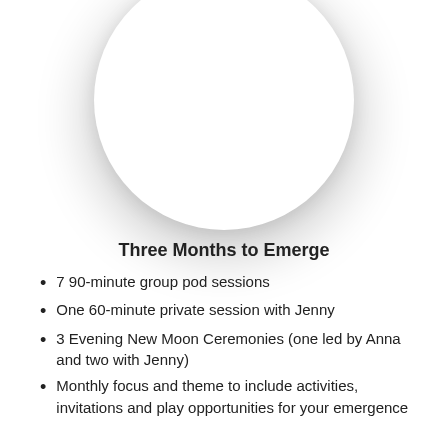[Figure (illustration): A large white circle with a soft drop shadow, centered near the top of the page, representing a placeholder image or profile photo area.]
Three Months to Emerge
7 90-minute group pod sessions
One 60-minute private session with Jenny
3 Evening New Moon Ceremonies (one led by Anna and two with Jenny)
Monthly focus and theme to include activities, invitations and play opportunities for your emergence